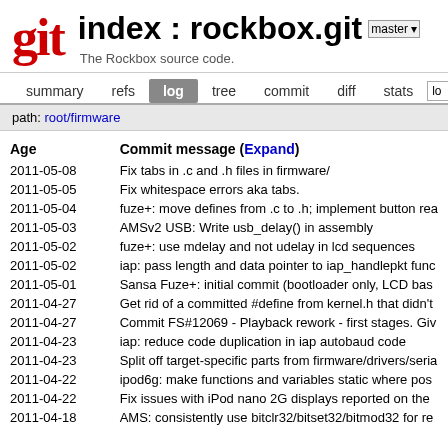index : rockbox.git
The Rockbox source code.
summary  refs  log  tree  commit  diff  stats
path: root/firmware
| Age | Commit message (Expand) |
| --- | --- |
| 2011-05-08 | Fix tabs in .c and .h files in firmware/ |
| 2011-05-05 | Fix whitespace errors aka tabs. |
| 2011-05-04 | fuze+: move defines from .c to .h; implement button rea |
| 2011-05-03 | AMSv2 USB: Write usb_delay() in assembly |
| 2011-05-02 | fuze+: use mdelay and not udelay in lcd sequences |
| 2011-05-02 | iap: pass length and data pointer to iap_handlepkt func |
| 2011-05-01 | Sansa Fuze+: initial commit (bootloader only, LCD bas |
| 2011-04-27 | Get rid of a committed #define from kernel.h that didn't |
| 2011-04-27 | Commit FS#12069 - Playback rework - first stages. Giv |
| 2011-04-23 | iap: reduce code duplication in iap autobaud code |
| 2011-04-23 | Split off target-specific parts from firmware/drivers/seria |
| 2011-04-22 | ipod6g: make functions and variables static where pos |
| 2011-04-22 | Fix issues with iPod nano 2G displays reported on the |
| 2011-04-18 | AMS: consistently use bitclr32/bitset32/bitmod32 for re |